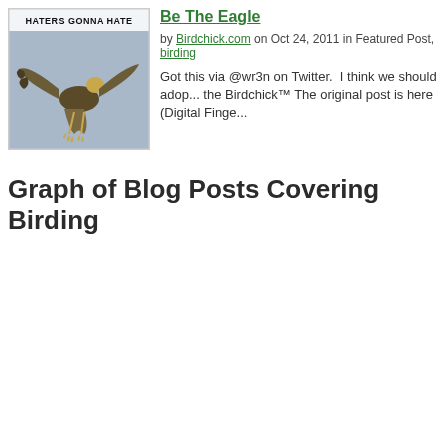[Figure (photo): Photo of an eagle in flight with 'HATERS GONNA HATE' text overlay at top, on a grey background]
Be The Eagle
by Birdchick.com on Oct 24, 2011 in Featured Post, birding
Got this via @wr3n on Twitter.  I think we should adop... the Birdchick™ The original post is here (Digital Finge...
Graph of Blog Posts Covering Birding